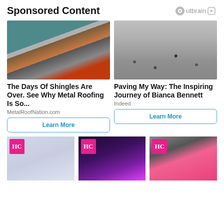Sponsored Content
[Figure (logo): Outbrain logo with play button icon]
[Figure (photo): Aerial view of metal roofing samples in various colors including orange, grey, and dark tones on display outside a teal house]
The Days Of Shingles Are Over. See Why Metal Roofing Is So...
MetalRoofNation.com
Learn More
[Figure (photo): Aerial/top-down black and white photo of people walking on stone steps/plaza]
Paving My Way: The Inspiring Journey of Bianca Bennett
Indeed
Learn More
[Figure (photo): Photo with HC (Her Campus) logo overlay showing a group in white outfits]
[Figure (photo): Photo with HC (Her Campus) logo overlay showing a woman in a neon/purple setting]
[Figure (photo): Photo with HC (Her Campus) logo overlay showing a woman in pink blazer with sunglasses]